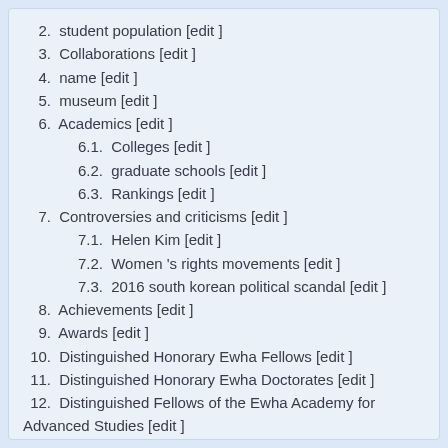2. student population [edit ]
3. Collaborations [edit ]
4. name [edit ]
5. museum [edit ]
6. Academics [edit ]
6.1. Colleges [edit ]
6.2. graduate schools [edit ]
6.3. Rankings [edit ]
7. Controversies and criticisms [edit ]
7.1. Helen Kim [edit ]
7.2. Women 's rights movements [edit ]
7.3. 2016 south korean political scandal [edit ]
8. Achievements [edit ]
9. Awards [edit ]
10. Distinguished Honorary Ewha Fellows [edit ]
11. Distinguished Honorary Ewha Doctorates [edit ]
12. Distinguished Fellows of the Ewha Academy for Advanced Studies [edit ]